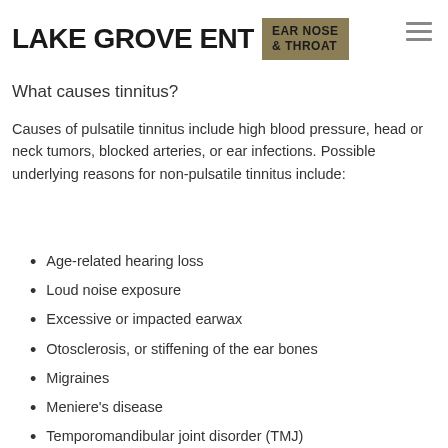LAKE GROVE ENT | EAR NOSE & THROAT
What causes tinnitus?
Causes of pulsatile tinnitus include high blood pressure, head or neck tumors, blocked arteries, or ear infections. Possible underlying reasons for non-pulsatile tinnitus include:
Age-related hearing loss
Loud noise exposure
Excessive or impacted earwax
Otosclerosis, or stiffening of the ear bones
Migraines
Meniere's disease
Temporomandibular joint disorder (TMJ)
Certain medications